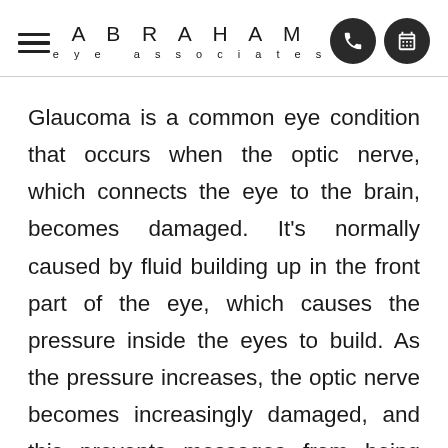ABRAHAM eye associates
Glaucoma is a common eye condition that occurs when the optic nerve, which connects the eye to the brain, becomes damaged. It's normally caused by fluid building up in the front part of the eye, which causes the pressure inside the eyes to build. As the pressure increases, the optic nerve becomes increasingly damaged, and this prevents messages from being transmitted between your